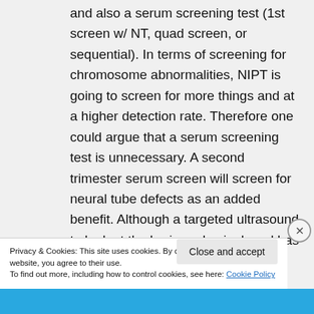and also a serum screening test (1st screen w/ NT, quad screen, or sequential). In terms of screening for chromosome abnormalities, NIPT is going to screen for more things and at a higher detection rate. Therefore one could argue that a serum screening test is unnecessary. A second trimester serum screen will screen for neural tube defects as an added benefit. Although a targeted ultrasound to look at the brain and spinal cord has a higher
Privacy & Cookies: This site uses cookies. By continuing to use this website, you agree to their use.
To find out more, including how to control cookies, see here: Cookie Policy